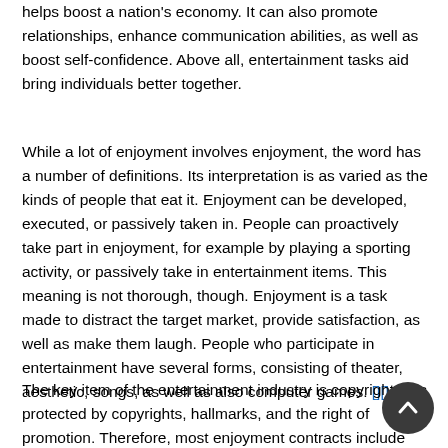helps boost a nation's economy. It can also promote relationships, enhance communication abilities, as well as boost self-confidence. Above all, entertainment tasks aid bring individuals better together.
While a lot of enjoyment involves enjoyment, the word has a number of definitions. Its interpretation is as varied as the kinds of people that eat it. Enjoyment can be developed, executed, or passively taken in. People can proactively take part in enjoyment, for example by playing a sporting activity, or passively take in entertainment items. This meaning is not thorough, though. Enjoyment is a task made to distract the target market, provide satisfaction, as well as make them laugh. People who participate in entertainment have several forms, consisting of theater, aesthetic, songs, as well as also computer games. [citation]
The key item of the entertainment industry is copyright. It is protected by copyrights, hallmarks, and the right of promotion. Therefore, most enjoyment contracts include possession and also use copyright, consisting of songs, plays, and